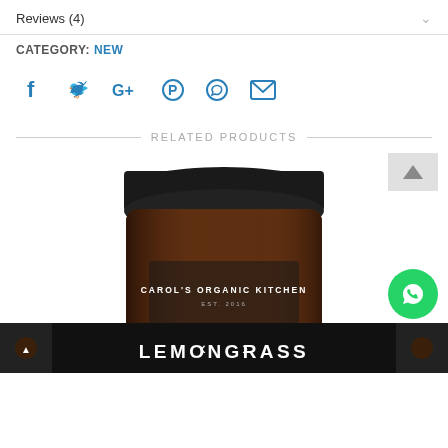Reviews (4)
CATEGORY: NEW
[Figure (infographic): Social share icons: Facebook, Twitter, Google+, Pinterest, WhatsApp, Email in blue]
RELATED PRODUCTS
[Figure (photo): Dark amber glass jar with black lid labeled CAROL'S ORGANIC KITCHEN EST. 2016 LEMONGRASS, partially cropped at bottom of page]